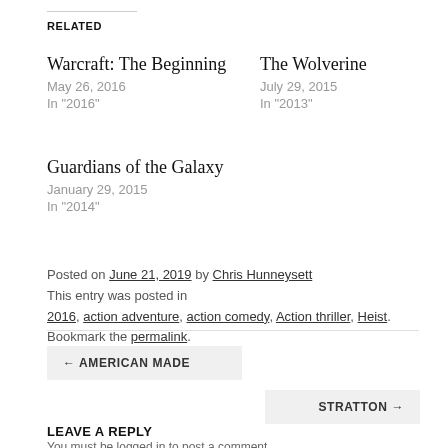RELATED
Warcraft: The Beginning
May 26, 2016
In "2016"
The Wolverine
July 29, 2015
In "2013"
Guardians of the Galaxy
January 29, 2015
In "2014"
Posted on June 21, 2019 by Chris Hunneysett
This entry was posted in
2016, action adventure, action comedy, Action thriller, Heist. Bookmark the permalink.
← AMERICAN MADE
STRATTON →
LEAVE A REPLY
You must be logged in to post a comment.